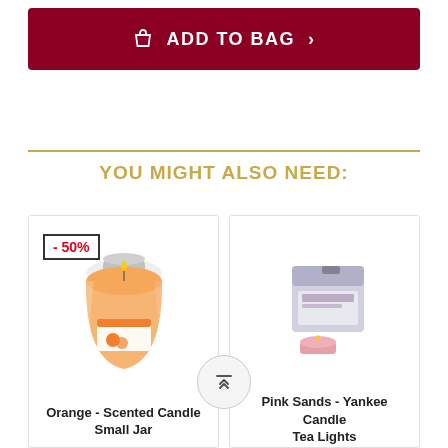ADD TO BAG
YOU MIGHT ALSO NEED:
[Figure (photo): Orange scented candle in a small glass jar with orange label, showing -50% discount badge]
Orange - Scented Candle Small Jar
[Figure (photo): Pink Sands Yankee Candle Tea Lights product box with small pink tea light candle in front]
Pink Sands - Yankee Candle Tea Lights